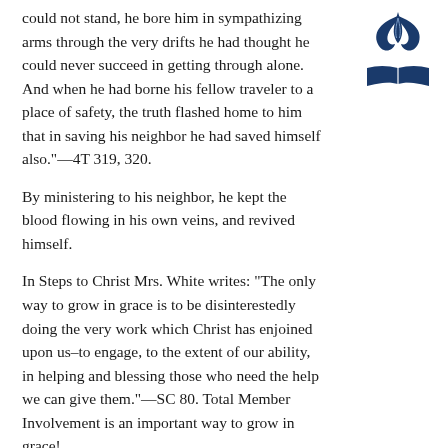could not stand, he bore him in sympathizing arms through the very drifts he had thought he could never succeed in getting through alone. And when he had borne his fellow traveler to a place of safety, the truth flashed home to him that in saving his neighbor he had saved himself also.”—4T 319, 320.
[Figure (logo): Seventh-day Adventist Church logo: stylized flame/dove shape above an open book, in dark blue]
By ministering to his neighbor, he kept the blood flowing in his own veins, and revived himself.
In Steps to Christ Mrs. White writes: “The only way to grow in grace is to be disinterestedly doing the very work which Christ has enjoined upon us–to engage, to the extent of our ability, in helping and blessing those who need the help we can give them.”—SC 80. Total Member Involvement is an important way to grow in grace!
Many years ago, the wise man summarized it well: “Whoever refreshes others will be refreshed” (Proverbs 11:25, NIV).
The first Spiritual Objective in the I Will Go plan is “To